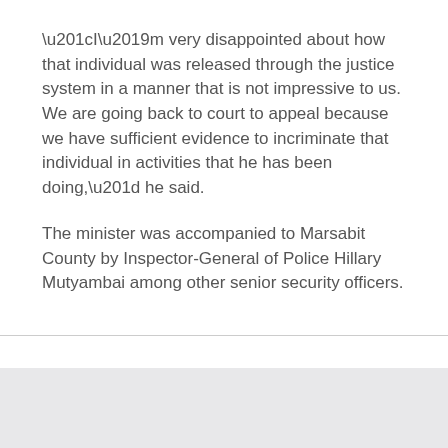“I’m very disappointed about how that individual was released through the justice system in a manner that is not impressive to us. We are going back to court to appeal because we have sufficient evidence to incriminate that individual in activities that he has been doing,” he said.
The minister was accompanied to Marsabit County by Inspector-General of Police Hillary Mutyambai among other senior security officers.